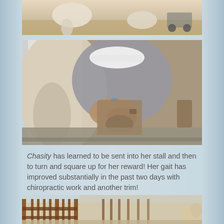[Figure (photo): Top portion of a farm/barn scene showing animals (goats or llamas) and a cart, cropped at top of page]
[Figure (photo): A man in grey work clothes and white cap bending over to trim or work on the hoof of a llama or alpaca, in a barn setting]
Chasity has learned to be sent into her stall and then to turn and square up for her reward! Her gait has improved substantially in the past two days with chiropractic work and another trim!
[Figure (photo): Interior of a barn showing wooden stall panels/gates with metal bars, lit from above]